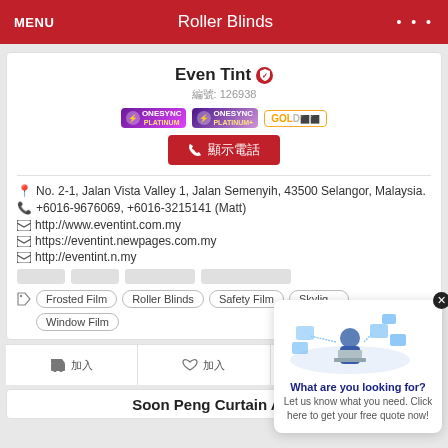MENU  Roller Blinds  ...
Even Tint
編號: 126938
[Figure (logo): ONESYNC PLATINUM, ONESYNC PLATINUM+, and GOLDi badges]
顯示電話
No. 2-1, Jalan Vista Valley 1, Jalan Semenyih, 43500 Selangor, Malaysia.
+6016-9676069, +6016-3215141 (Matt)
http://www.eventint.com.my
https://eventint.newpages.com.my
http://eventint.n.my
Frosted Film
Roller Blinds
Safety Film
Skylight Film
Window Film
[Figure (infographic): What are you looking for? popup with illustration of person at laptop with digital icons. Text: Let us know what you need. Click here to get your free quote now!]
加入購物 | 加入最愛 | 聯絡我們 | scroll to top